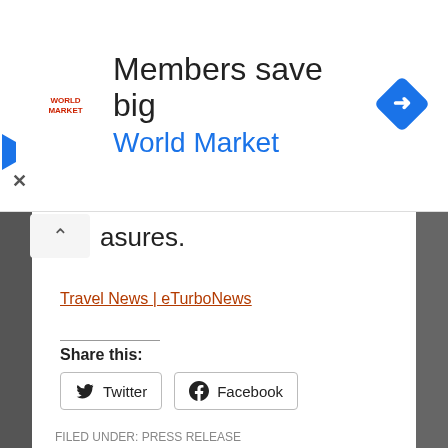[Figure (other): Advertisement banner: World Market 'Members save big' ad with logo, blue turn arrow icon on right, play and close icons on left side]
asures.
Travel News | eTurboNews
Share this:
Twitter  Facebook
FILED UNDER: PRESS RELEASE
TAGGED WITH: AND, APPROVAL, APPROVALS, APRIL, AREAS, ASSEMBLY, ASSEMBLY LINE, AUTHORITY, AVIATION, AVIATION AUTHORITY, AVIATION NEWS, AVIATION-WEBSITE, BREAKING TRAVEL NEWS, BUSINESS, CABIN, CALENDAR, CENTRE, CHANCE, CIVIL AVIATION, CIVIL AVIATION AUTHORITY, CURRENTLY, DAYS, DELIVERED, DELIVERY, ENGINEERS, ENTRY, EUROPE, EXPERIENCE, EXPERIENCED, FIRST, FIRST GROUP, FLIGHT, FLIGHT OPERATIONS, GENERAL, GROUP, HAMBURG,